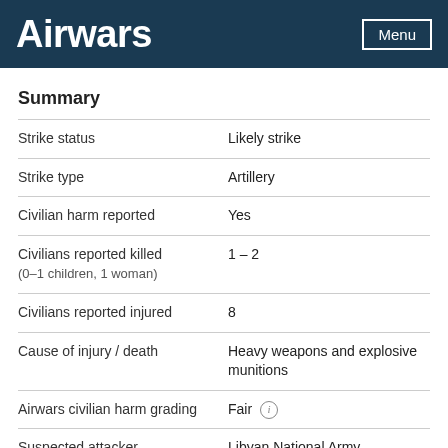Airwars
Summary
| Field | Value |
| --- | --- |
| Strike status | Likely strike |
| Strike type | Artillery |
| Civilian harm reported | Yes |
| Civilians reported killed
(0–1 children, 1 woman) | 1 – 2 |
| Civilians reported injured | 8 |
| Cause of injury / death | Heavy weapons and explosive munitions |
| Airwars civilian harm grading | Fair ℹ |
| Suspected attacker | Libyan National Army |